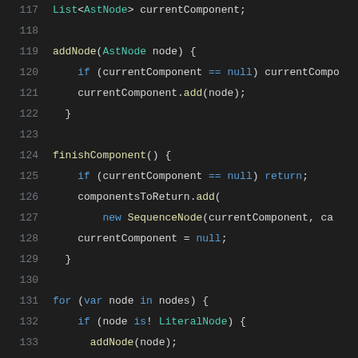Source code listing lines 117-137 showing Dart/Java-like code with list manipulation and loop logic.